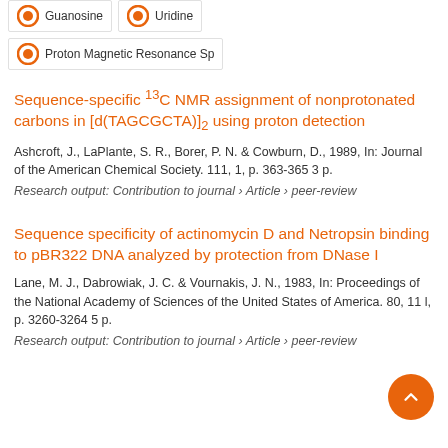Guanosine
Uridine
Proton Magnetic Resonance Sp
Sequence-specific 13C NMR assignment of nonprotonated carbons in [d(TAGCGCTA)]2 using proton detection
Ashcroft, J., LaPlante, S. R., Borer, P. N. & Cowburn, D., 1989, In: Journal of the American Chemical Society. 111, 1, p. 363-365 3 p.
Research output: Contribution to journal › Article › peer-review
Sequence specificity of actinomycin D and Netropsin binding to pBR322 DNA analyzed by protection from DNase I
Lane, M. J., Dabrowiak, J. C. & Vournakis, J. N., 1983, In: Proceedings of the National Academy of Sciences of the United States of America. 80, 11 l, p. 3260-3264 5 p.
Research output: Contribution to journal › Article › peer-review